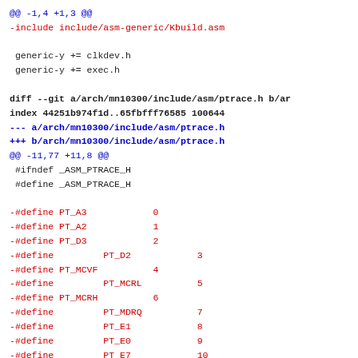@@ -1,4 +1,3 @@
-include include/asm-generic/Kbuild.asm

 generic-y += clkdev.h
 generic-y += exec.h

diff --git a/arch/mn10300/include/asm/ptrace.h b/arch/mn10300/include/asm/ptrace.h
index 44251b974f1d..65fbfff76585 100644
--- a/arch/mn10300/include/asm/ptrace.h
+++ b/arch/mn10300/include/asm/ptrace.h
@@ -11,77 +11,8 @@
 #ifndef _ASM_PTRACE_H
 #define _ASM_PTRACE_H

-#define PT_A3            0
-#define PT_A2            1
-#define PT_D3            2
-#define         PT_D2            3
-#define PT_MCVF          4
-#define         PT_MCRL          5
-#define PT_MCRH          6
-#define         PT_MDRQ          7
-#define         PT_E1            8
-#define         PT_E0            9
-#define         PT_E7            10
-#define         PT_E6            11
-#define         PT_E5            12
-#define         PT_E4            13
-#define         PT_E3            14
-#define         PT_E2            15